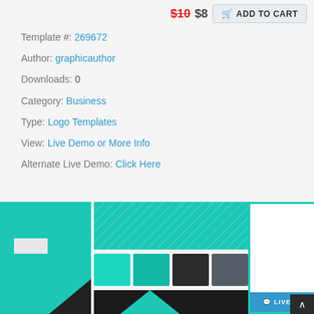$10 $8 ADD TO CART
Template #: 269672
Author: graphicauthor
Downloads: 0
Category: Business
Type: Logo Templates
View: Live Demo or More Info
Alternate Live Demo: Click Here
[Figure (screenshot): Logo template preview showing teal geometric logo, color swatches (teal, dark, gray), patterned background tile, and a white card with teal border. Live Chat button visible.]